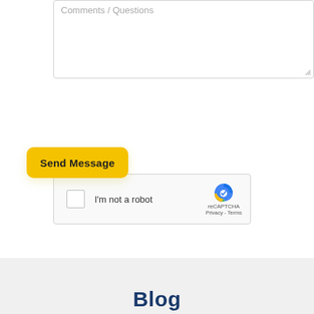[Figure (screenshot): Text area input field with placeholder text 'Comments / Questions' and a resize handle at the bottom right corner]
[Figure (screenshot): reCAPTCHA widget with checkbox labeled 'I'm not a robot', reCAPTCHA logo, and Privacy/Terms links]
Send Message
Blog